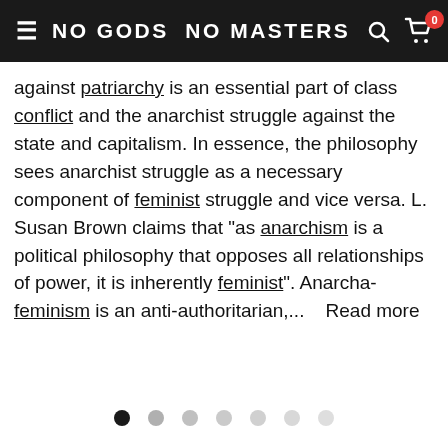NO GODS NO MASTERS
against patriarchy is an essential part of class conflict and the anarchist struggle against the state and capitalism. In essence, the philosophy sees anarchist struggle as a necessary component of feminist struggle and vice versa. L. Susan Brown claims that "as anarchism is a political philosophy that opposes all relationships of power, it is inherently feminist". Anarcha-feminism is an anti-authoritarian,...   Read more